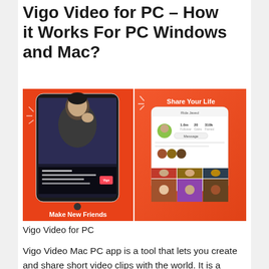Vigo Video for PC – How it Works For PC Windows and Mac?
[Figure (screenshot): Two promotional screenshots of Vigo Video app. Left panel shows orange background with a phone displaying a live video of a man, with text 'Make New Friends' at bottom. Right panel shows orange background with a phone displaying a user profile page and 'Share Your Life' text at top, with photo grid below.]
Vigo Video for PC
Vigo Video Mac PC app is a tool that lets you create and share short video clips with the world. It is a social video app with